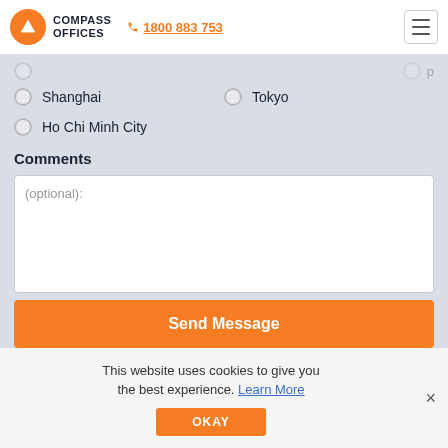COMPASS OFFICES | 1800 883 753
Shanghai
Tokyo
Ho Chi Minh City
Comments
(optional):
Send Message
This website uses cookies to give you the best experience. Learn More
OKAY